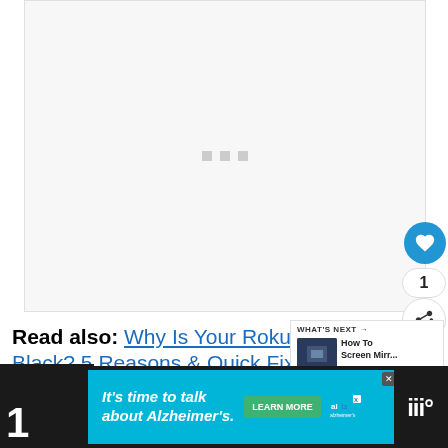[Figure (other): Video/image loading area with three gray loading indicator squares in the center on a light gray background]
Read also: Why Is Your Roku TV Screen Black? 5 Reasons & Quick Fixes
[Figure (screenshot): What's Next panel showing thumbnail and title 'How To Screen Mirr...']
[Figure (other): Advertisement banner: It's time to talk about Alzheimer's. with Learn More button and Alzheimer's Association logo]